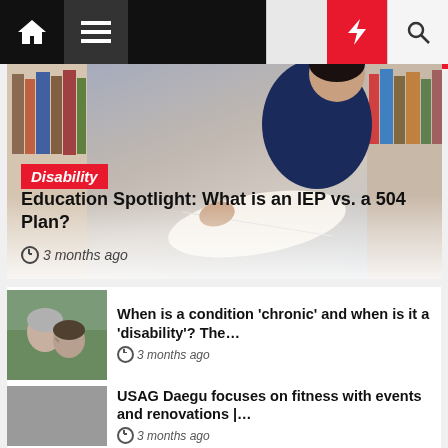Navigation bar with home, menu, moon, bolt, and search icons
[Figure (photo): Child reading a book in a library, with bookshelves in background]
Disability
Education Spotlight: What is an IEP vs. a 504 Plan?
3 months ago
[Figure (photo): Elderly man and younger man touching foreheads affectionately outdoors]
When is a condition 'chronic' and when is it a 'disability'? The…
3 months ago
[Figure (photo): Gray placeholder image]
USAG Daegu focuses on fitness with events and renovations |…
3 months ago